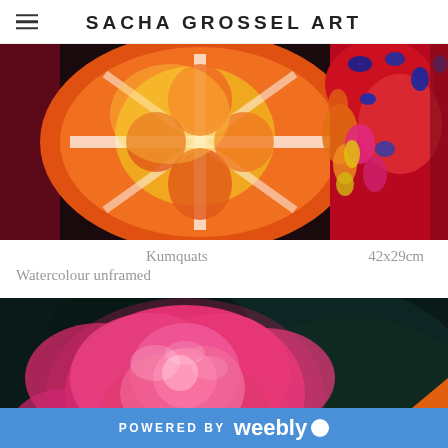SACHA GROSSEL ART
[Figure (illustration): Colorful watercolour painting of sliced kumquats/citrus with vibrant orange, red, yellow, and abstract patterns on a dark background]
Kumquats   42x29cm
Watercolour unframed
[Figure (illustration): Watercolour painting of a vivid pink rose with dark teal/black background and hint of orange in corner]
POWERED BY weebly